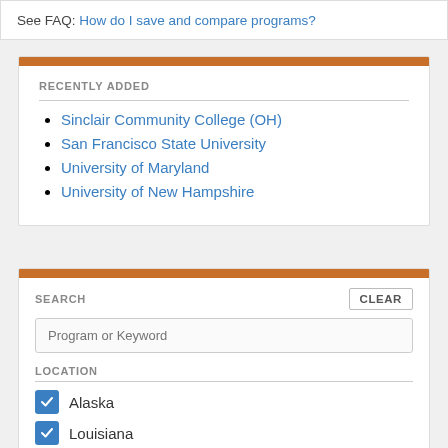See FAQ: How do I save and compare programs?
RECENTLY ADDED
Sinclair Community College (OH)
San Francisco State University
University of Maryland
University of New Hampshire
SEARCH
Program or Keyword
LOCATION
Alaska
Louisiana
Mississippi
Show more states